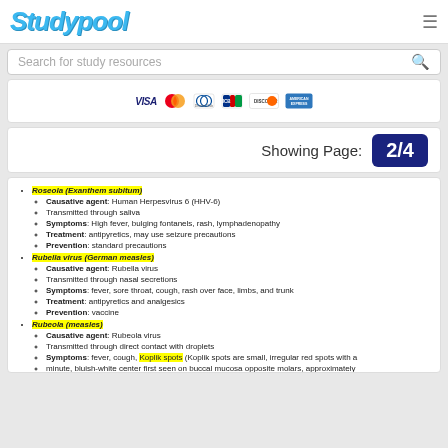Studypool
Search for study resources
[Figure (other): Payment card logos: VISA, Mastercard, Diners Club, JCB, Discover, American Express]
Showing Page: 2/4
Roseola (Exanthem subitum) - Causative agent: Human Herpesvirus 6 (HHV-6); Transmitted through saliva; Symptoms: High fever, bulging fontanels, rash, lymphadenopathy; Treatment: antipyretics, may use seizure precautions; Prevention: standard precautions
Rubella virus (German measles) - Causative agent: Rubella virus; Transmitted through nasal secretions; Symptoms: fever, sore throat, cough, rash over face, limbs, and trunk; Treatment: antipyretics and analgesics; Prevention: vaccine
Rubeola (measles) - Causative agent: Rubeola virus; Transmitted through direct contact with droplets; Symptoms: fever, cough, Koplik spots (Koplik spots are small, irregular red spots with a minute, bluish-white center first seen on buccal mucosa opposite molars, approximately...